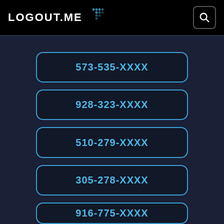LOGOUT.ME
573-535-XXXX
928-323-XXXX
510-279-XXXX
305-278-XXXX
916-775-XXXX